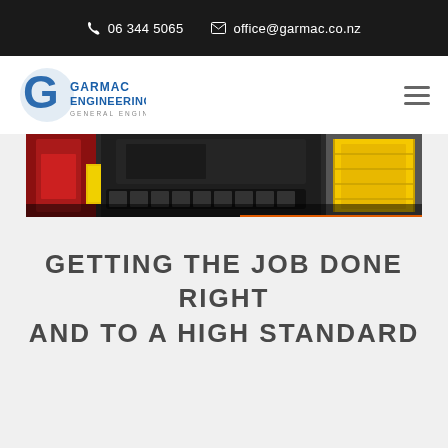06 344 5065  office@garmac.co.nz
[Figure (logo): Garmac Engineering - General Engineers logo with stylized G and blue text]
[Figure (photo): Industrial engineering equipment - heavy machinery with red and yellow components on tracks]
GETTING THE JOB DONE RIGHT AND TO A HIGH STANDARD